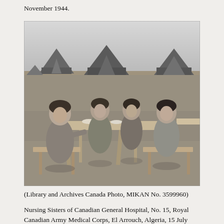November 1944.
[Figure (photo): Black and white photograph of four nursing sisters seated at an outdoor wooden picnic table in a desert/sandy camp setting with military tents visible in the background. The women are in uniform, smiling, with cups and plates on the table.]
(Library and Archives Canada Photo, MIKAN No. 3599960)
Nursing Sisters of Canadian General Hospital, No. 15, Royal Canadian Army Medical Corps, El Arrouch, Algeria, 15 July